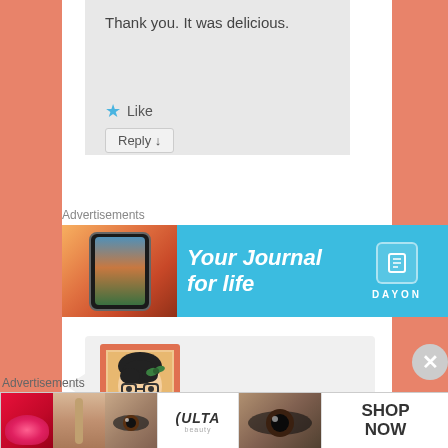Thank you. It was delicious.
★ Like
Reply ↓
Advertisements
[Figure (screenshot): Advertisement banner: blue background with phone image, text 'Your Journal for life', and DAYON branding with book icon]
[Figure (illustration): User avatar: cartoon illustration of a woman with dark hair and glasses in a red/orange frame]
Advertisements
[Figure (screenshot): ULTA beauty advertisement strip showing makeup images with 'SHOP NOW' button]